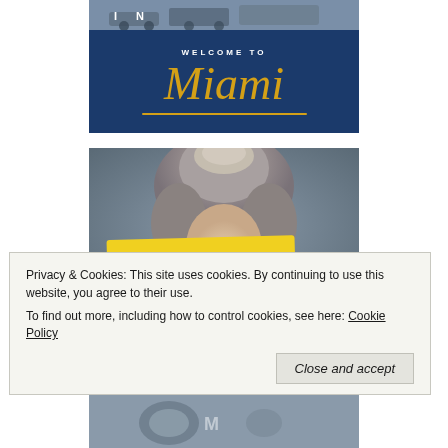[Figure (photo): Welcome to Miami banner image with dark navy blue background, script gold text reading 'Miami' with 'WELCOME TO' above it in white capital letters, and a strip at top showing letters 'I N' over a grayish photo of vehicles]
[Figure (photo): Portrait painting of an 18th century woman with elaborate powdered/gray upswept hairstyle and silver ornament, face partially obscured by a yellow brushstroke banner reading 'lemon queen' in handwritten script]
Privacy & Cookies: This site uses cookies. By continuing to use this website, you agree to their use.
To find out more, including how to control cookies, see here: Cookie Policy
[Figure (photo): Partial bottom strip showing another image, partially cut off]